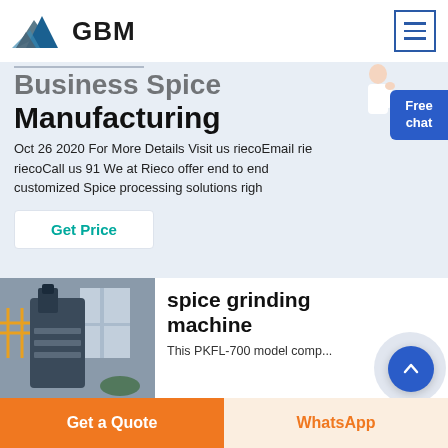GBM
Business Spice Manufacturing
Oct 26 2020  For More Details Visit us riecoEmail rie riecoCall us 91 We at Rieco offer end to end customized Spice processing solutions righ
Get Price
[Figure (photo): Industrial spice grinding machine in a factory setting]
spice grinding machine
This PKFL-700 model comp...